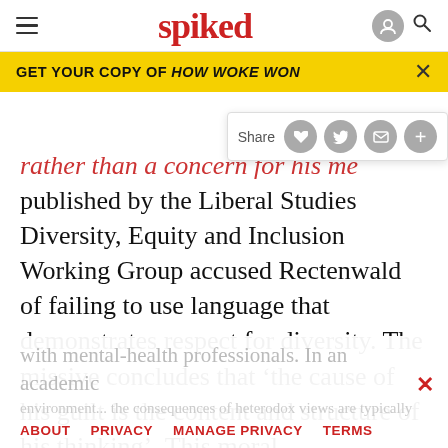spiked
GET YOUR COPY OF HOW WOKE WON
rather than a concern for his me... published by the Liberal Studies Diversity, Equity and Inclusion Working Group accused Rectenwald of failing to use language that demonstrates respect for diversity. The missive concludes that ‘the cause of his guilt is the content and structure of his thinking’. This moral condemnation of guilty thoughts expresses an attitude more commonly associated with censors than with mental-health professionals. In an academic community...
ABOUT   PRIVACY   MANAGE PRIVACY   TERMS